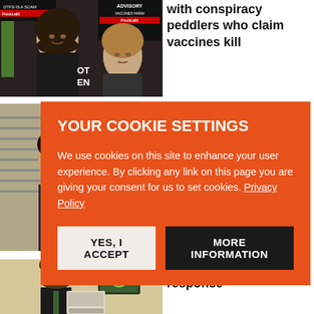[Figure (photo): Two people in front of anti-vaccine signs including 'ADVISORY VACCINES HARM' text]
with conspiracy peddlers who claim vaccines kill
[Figure (photo): Person with arm raised, partially visible background]
he
YOUR COOKIE SETTINGS
We use cookies on this site to enhance your user experience. By clicking any link on this page you are giving your consent for us to set cookies. Privacy Policy
YES, I ACCEPT
MORE INFORMATION
he
[Figure (photo): Man in suit holding a phone device, screen visible in background]
that whiffed their Covid response